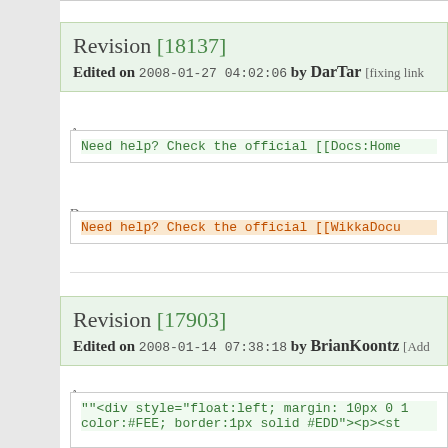Revision [18137]
Edited on 2008-01-27 04:02:06 by DarTar [fixing link
Additions:
Need help? Check the official [[Docs:Home
Deletions:
Need help? Check the official [[WikkaDocu
Revision [17903]
Edited on 2008-01-14 07:38:18 by BrianKoontz [Add
Additions:
""<div style="float:left; margin: 10px 0 1
color:#FEE; border:1px solid #EDD"><p><st